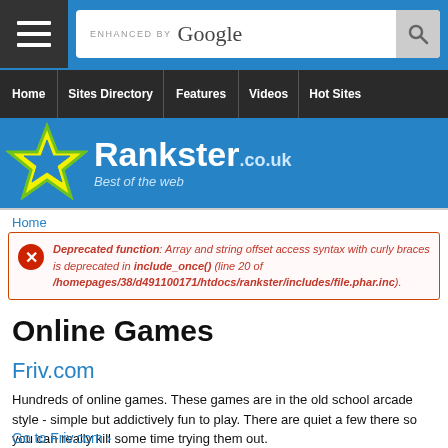[Figure (screenshot): Rankster.co.uk website header with blue background, hamburger menu, Google search bar, navigation bar with Home, Sites Directory, Features, Videos, Hot Sites, and Rankster logo with star icon and 'Best of the web' tagline]
Home
Deprecated function: Array and string offset access syntax with curly braces is deprecated in include_once() (line 20 of /homepages/38/d491100171/htdocs/rankster/includes/file.phar.inc).
Online Games
Friv.com
Hundreds of online games. These games are in the old school arcade style - simple but addictively fun to play. There are quiet a few there so you can really kill some time trying them out.
Go to Friv.com ›